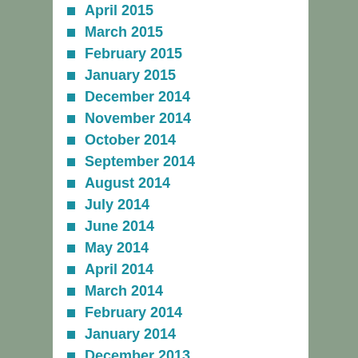April 2015
March 2015
February 2015
January 2015
December 2014
November 2014
October 2014
September 2014
August 2014
July 2014
June 2014
May 2014
April 2014
March 2014
February 2014
January 2014
December 2013
November 2013
October 2013
September 2013
August 2013
July 2013